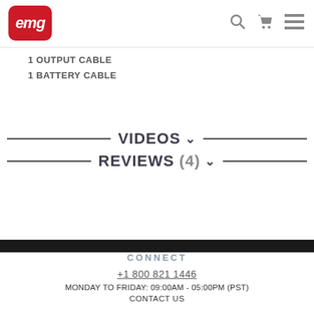[Figure (logo): EMG logo — red rounded rectangle with white italic EMG text]
1 OUTPUT CABLE
1 BATTERY CABLE
VIDEOS ˅
REVIEWS (4) ˅
CONNECT
+1 800 821 1446
MONDAY TO FRIDAY: 09:00AM - 05:00PM (PST)
CONTACT US